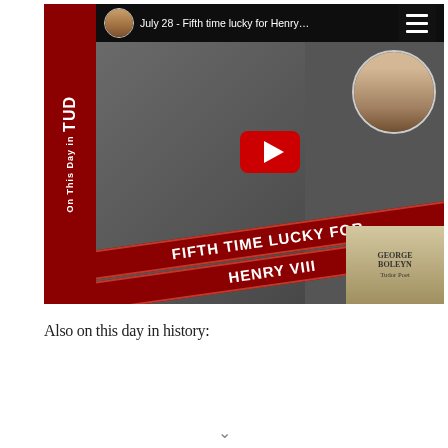[Figure (screenshot): YouTube video thumbnail for 'July 28 - Fifth time lucky for Henry VIII' from a Tudor history channel. Shows a woman with glasses and short hair, a red banner reading 'FIFTH TIME LUCKY FOR HENRY VIII', a portrait of a Tudor-era woman, and a book titled 'George Boleyn'. Has a red YouTube play button, hamburger menu icon, and red sidebar reading 'On This Day in TUD'.]
Also on this day in history: